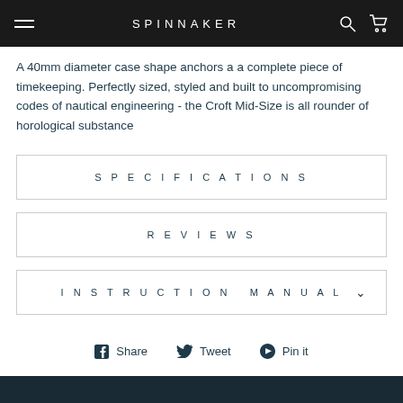SPINNAKER
A 40mm diameter case shape anchors a a complete piece of timekeeping. Perfectly sized, styled and built to uncompromising codes of nautical engineering - the Croft Mid-Size is all rounder of horological substance
SPECIFICATIONS
REVIEWS
INSTRUCTION MANUAL
Share  Tweet  Pin it